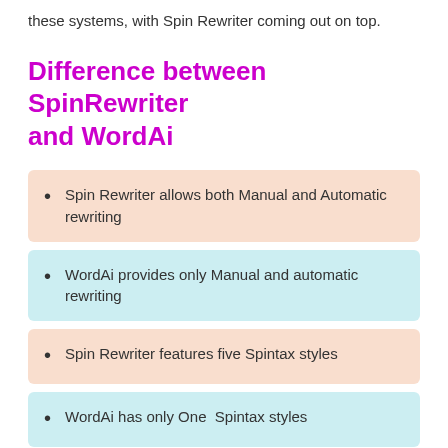these systems, with Spin Rewriter coming out on top.
Difference between SpinRewriter and WordAi
Spin Rewriter allows both Manual and Automatic rewriting
WordAi provides only Manual and automatic rewriting
Spin Rewriter features five Spintax styles
WordAi has only One  Spintax styles